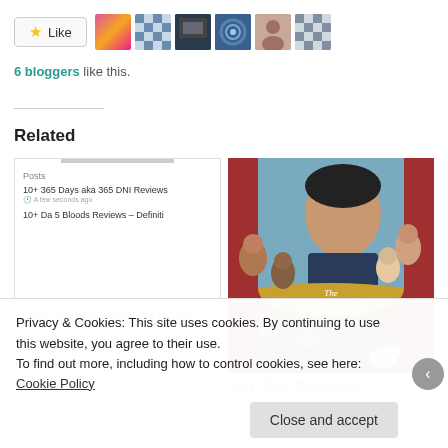[Figure (other): Like button with star icon and 6 blogger avatar thumbnails]
6 bloggers like this.
Related
[Figure (screenshot): Screenshot of a blog post list widget showing '10+ 365 Days aka 365 DNI Reviews' and '10+ Da 5 Bloods Reviews – Definiti' posts]
How To Add Your Movie Review Blog to our Preferred Review Pull Quote List
[Figure (photo): Movie poster for 'The Personal History of David Copperfield']
30+ The Personal...
Privacy & Cookies: This site uses cookies. By continuing to use this website, you agree to their use.
To find out more, including how to control cookies, see here: Cookie Policy
Close and accept